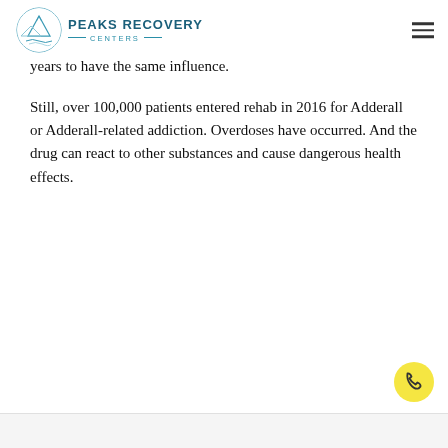[Figure (logo): Peaks Recovery Centers logo with mountain graphic and teal text]
addiction as say addiction with street drugs can one, while performance-e dying may take years to have the same influence.
Still, over 100,000 patients entered rehab in 2016 for Adderall or Adderall-related addiction. Overdoses have occurred. And the drug can react to other substances and cause dangerous health effects.